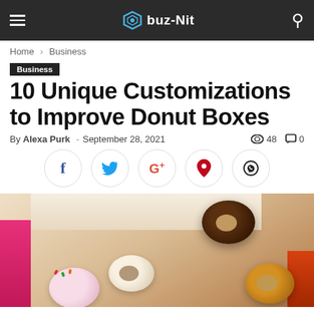buz-Nit
Home › Business
Business
10 Unique Customizations to Improve Donut Boxes
By Alexa Purk - September 28, 2021  48  0
[Figure (infographic): Social sharing buttons: Facebook, Twitter, Google+, Pinterest, WhatsApp]
[Figure (photo): A cardboard donut box open showing several donuts including a chocolate-glazed, a white-glazed, a sprinkled, and a caramel donut, with a pink and orange branded strip visible.]